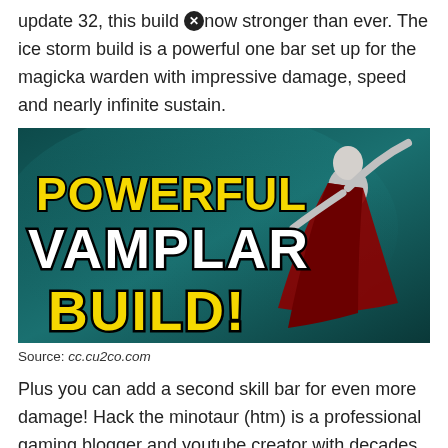update 32, this build [X] now stronger than ever. The ice storm build is a powerful one bar set up for the magicka warden with impressive damage, speed and nearly infinite sustain.
[Figure (illustration): Gaming thumbnail image showing text 'POWERFUL VAMPLAR BUILD!' in yellow and white bold letters with a vampire-like character figure on a dark teal background.]
Source: cc.cu2co.com
Plus you can add a second skill bar for even more damage! Hack the minotaur (htm) is a professional gaming blogger and youtube creator with decades of